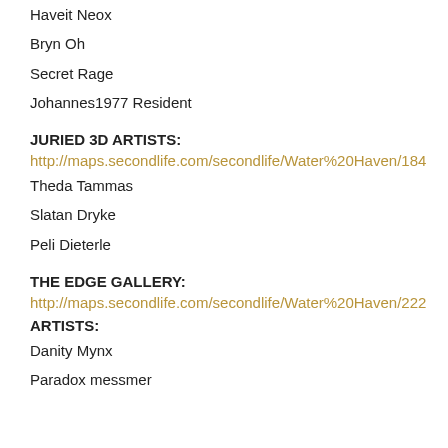Haveit Neox
Bryn Oh
Secret Rage
Johannes1977 Resident
JURIED 3D ARTISTS:
http://maps.secondlife.com/secondlife/Water%20Haven/184...
Theda Tammas
Slatan Dryke
Peli Dieterle
THE EDGE GALLERY:
http://maps.secondlife.com/secondlife/Water%20Haven/222...
ARTISTS:
Danity Mynx
Paradox messmer